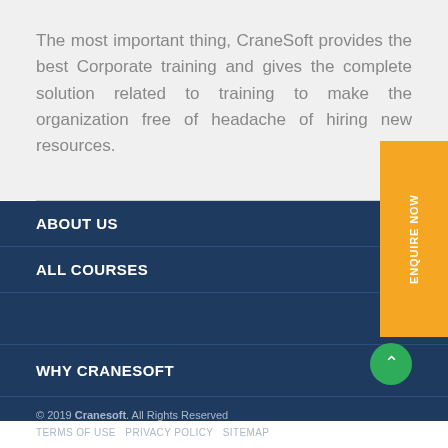The most important thing, CraneSoft provides the best Corporate training and gives the complete solution related to training to make the organization free of headache of hiring new resources.
ABOUT US
ALL COURSES
WHY CRANESOFT
© 2019 Cranesoft. All Rights Reserved
TERMS OF USE   PRIVACY POLICY   SITEMAP